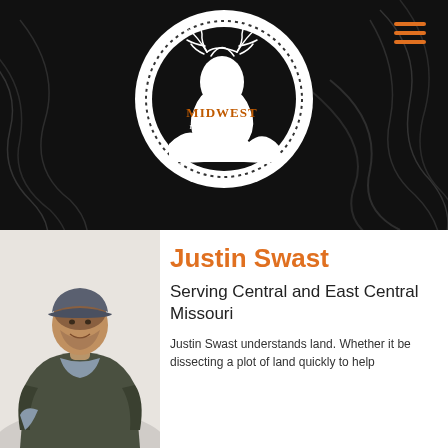[Figure (logo): Midwest Land Group logo: a white circle with dotted border containing an illustration of a large buck deer, with the text 'MIDWEST LAND GROUP' where MIDWEST is in orange/brown and LAND GROUP is in white, set against a black background with decorative topographic line patterns]
Justin Swast
Serving Central and East Central Missouri
Justin Swast understands land. Whether it be dissecting a plot of land quickly to help